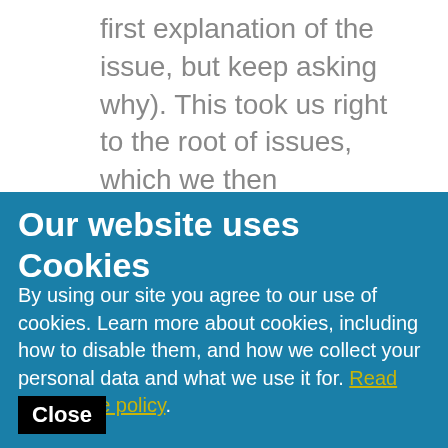first explanation of the issue, but keep asking why). This took us right to the root of issues, which we then discussed and considered the reasons for them. Next, we wanted to give the teachers an
Our website uses Cookies
By using our site you agree to our use of cookies. Learn more about cookies, including how to disable them, and how we collect your personal data and what we use it for. Read our cookie policy.
Close